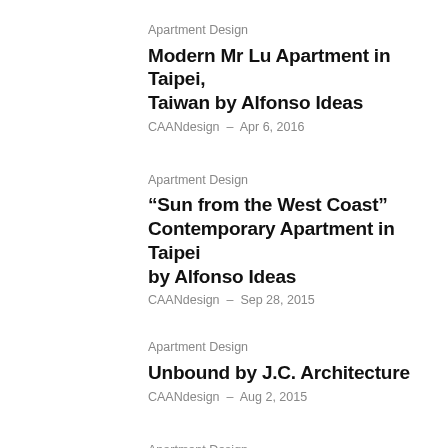Apartment Design
Modern Mr Lu Apartment in Taipei, Taiwan by Alfonso Ideas
CAANdesign  –  Apr 6, 2016
Apartment Design
“Sun from the West Coast” Contemporary Apartment in Taipei by Alfonso Ideas
CAANdesign  –  Sep 28, 2015
Apartment Design
Unbound by J.C. Architecture
CAANdesign  –  Aug 2, 2015
Apartment Design
Luxury Small Apartment in Taipei